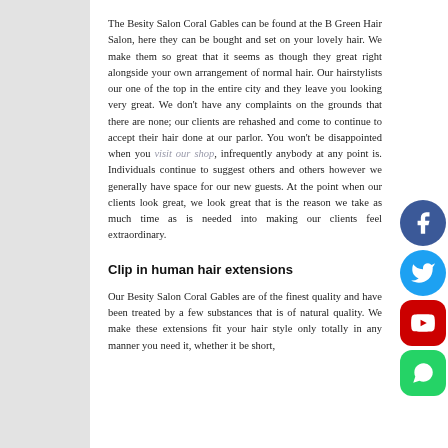The Besity Salon Coral Gables can be found at the B Green Hair Salon, here they can be bought and set on your lovely hair. We make them so great that it seems as though they great right alongside your own arrangement of normal hair. Our hairstylists our one of the top in the entire city and they leave you looking very great. We don't have any complaints on the grounds that there are none; our clients are rehashed and come to continue to accept their hair done at our parlor. You won't be disappointed when you visit our shop, infrequently anybody at any point is. Individuals continue to suggest others and others however we generally have space for our new guests. At the point when our clients look great, we look great that is the reason we take as much time as is needed into making our clients feel extraordinary.
Clip in human hair extensions
Our Besity Salon Coral Gables are of the finest quality and have been treated by a few substances that is of natural quality. We make these extensions fit your hair style only totally in any manner you need it, whether it be short,